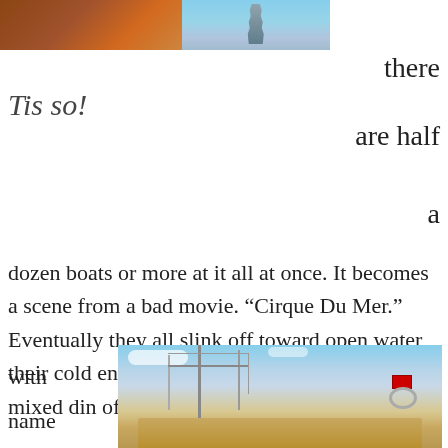[Figure (photo): Partial view of a photo showing a building interior on the left (brown/reddish tones) and a statue or sculpture against a light sky on the right, cropped at the bottom of the frame.]
there are half a dozen boats or more at it all at once. It becomes a scene from a bad movie. “Cirque Du Mer.” Eventually they all slink off toward open water, their cold engines blurping and belching, a mixed din of twin engined vessels
Tis so!
with names like
[Figure (photo): A photograph of a boat or fishing vessel with tall masts and rigging against a blue sky with clouds. A red flag is visible on the right side. The vessel appears to be docked with a yellow/tan hull visible at the bottom.]